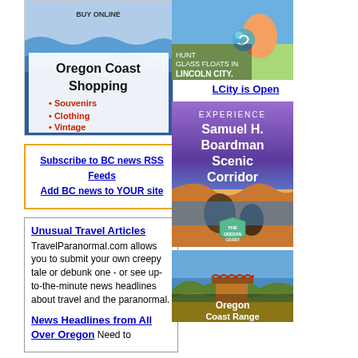[Figure (illustration): Oregon Coast Shopping ad - Buy Online, Souvenirs, Clothing, Vintage]
[Figure (illustration): Hunt Glass Floats in Lincoln City ad with animated character]
LCity is Open
Subscribe to BC news RSS Feeds
Add BC news to YOUR site
[Figure (illustration): Experience Samuel H. Boardman Scenic Corridor - The Oregon Coast]
Unusual Travel Articles
TravelParanormal.com allows you to submit your own creepy tale or debunk one - or see up-to-the-minute news headlines about travel and the paranormal.
News Headlines from All Over Oregon Need to
[Figure (photo): Oregon Coast Range scenic photo with flowers and buildings]